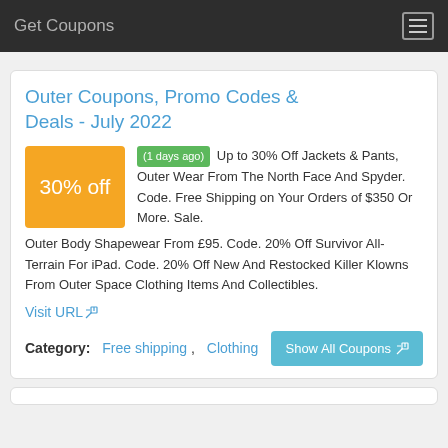Get Coupons
Outer Coupons, Promo Codes & Deals - July 2022
(1 days ago) Up to 30% Off Jackets & Pants, Outer Wear From The North Face And Spyder. Code. Free Shipping on Your Orders of $350 Or More. Sale. Outer Body Shapewear From £95. Code. 20% Off Survivor All-Terrain For iPad. Code. 20% Off New And Restocked Killer Klowns From Outer Space Clothing Items And Collectibles.
Visit URL
Category:  Free shipping,  Clothing
Show All Coupons